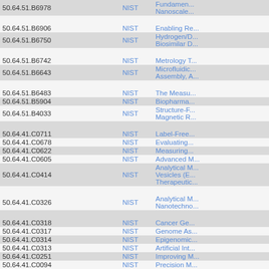| ID | Org | Title |
| --- | --- | --- |
| 50.64.51.B6978 | NIST | Fundamen... Nanoscale... |
| 50.64.51.B6906 | NIST | Enabling Re... |
| 50.64.51.B6750 | NIST | Hydrogen/D... Biosimilar D... |
| 50.64.51.B6742 | NIST | Metrology T... |
| 50.64.51.B6643 | NIST | Microfluidic... Assembly, A... |
| 50.64.51.B6483 | NIST | The Measu... |
| 50.64.51.B5904 | NIST | Biopharma... |
| 50.64.51.B4033 | NIST | Structure-F... Magnetic R... |
| 50.64.41.C0711 | NIST | Label-Free... |
| 50.64.41.C0678 | NIST | Evaluating... |
| 50.64.41.C0622 | NIST | Measuring... |
| 50.64.41.C0605 | NIST | Advanced M... |
| 50.64.41.C0414 | NIST | Analytical M... Vesicles (E... Therapeutic... |
| 50.64.41.C0326 | NIST | Analytical M... Nanotechno... |
| 50.64.41.C0318 | NIST | Cancer Ge... |
| 50.64.41.C0317 | NIST | Genome As... |
| 50.64.41.C0314 | NIST | Epigenomic... |
| 50.64.41.C0313 | NIST | Artificial Int... |
| 50.64.41.C0251 | NIST | Improving M... |
| 50.64.41.C0094 | NIST | Precision M... |
| 50.64.41.B8574 | NIST | Metrology f... |
| 50.64.41.B8571 | NIST | Advanced V... |
| 50.64.41.B8452 | NIST | Mapping Re... |
| 50.64.41.B8449 | NIST | Research i... |
| 50.64.41.B8385 | NIST | Toward Op... |
| 50.64.41.B8384 | NIST | Advanced I... Differentiati... |
| 50.64.41.B8383 | NIST | Design Pri... |
| 50.64.41.B8375 | NIST | Engineering... |
| 50.64.41.B8353 | NIST | Mixed Path... |